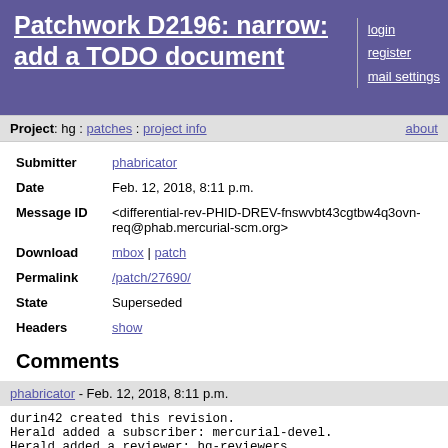Patchwork D2196: narrow: add a TODO document
login
register
mail settings
Project: hg : patches : project info   about
| Field | Value |
| --- | --- |
| Submitter | phabricator |
| Date | Feb. 12, 2018, 8:11 p.m. |
| Message ID | <differential-rev-PHID-DREV-fnswvbt43cgtbw4q3ovn-req@phab.mercurial-scm.org> |
| Download | mbox | patch |
| Permalink | /patch/27690/ |
| State | Superseded |
| Headers | show |
Comments
phabricator - Feb. 12, 2018, 8:11 p.m.
durin42 created this revision.
Herald added a subscriber: mercurial-devel.
Herald added a reviewer: hg-reviewers.